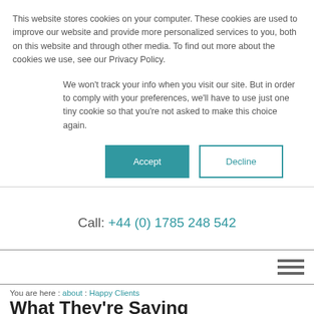This website stores cookies on your computer. These cookies are used to improve our website and provide more personalized services to you, both on this website and through other media. To find out more about the cookies we use, see our Privacy Policy.
We won't track your info when you visit our site. But in order to comply with your preferences, we'll have to use just one tiny cookie so that you're not asked to make this choice again.
Accept | Decline
Call: +44 (0) 1785 248 542
You are here : about : Happy Clients
What They're Saying